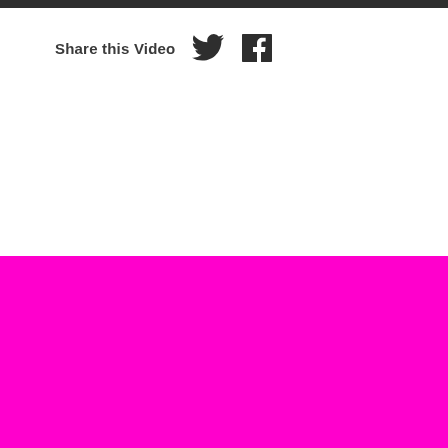Share this Video
THE GREENE SPACE IS FUNDED BY YOU.
Make a monthly donation of $10 or more to support us and all the programs and podcasts you love from WNYC, WQXR, Gothamist and more!